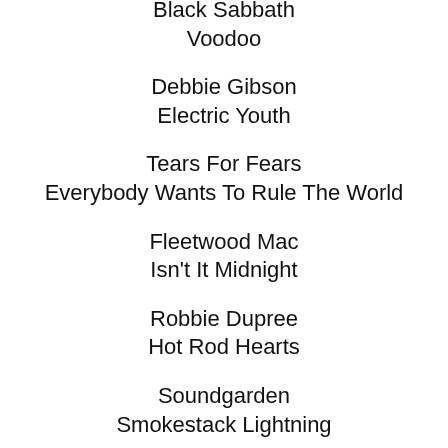Black Sabbath
Voodoo
Debbie Gibson
Electric Youth
Tears For Fears
Everybody Wants To Rule The World
Fleetwood Mac
Isn't It Midnight
Robbie Dupree
Hot Rod Hearts
Soundgarden
Smokestack Lightning
Hall & Oates
One On One
Rick James